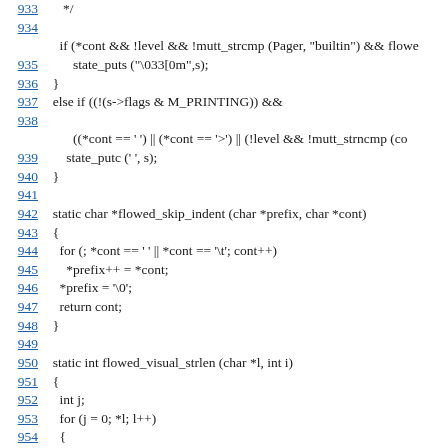933    */
934
    if (*cont && !level && !mutt_strcmp (Pager, "builtin") && flowe
935        state_puts ("\033[0m",s);
936   }
937   else if ((!(s->flags & M_PRINTING)) &&
938
        ((*cont == ' ') || (*cont == '>') || (!level && !mutt_strncmp (co
939       state_putc (' ', s);
940  }
941
942  static char *flowed_skip_indent (char *prefix, char *cont)
943  {
944    for (; *cont == ' ' || *cont == '\t'; cont++)
945      *prefix++ = *cont;
946    *prefix = '\0';
947    return cont;
948  }
949
950  static int flowed_visual_strlen (char *l, int i)
951  {
952    int j;
953    for (j = 0; *l; l++)
954    {
955      if (*l == '\t')